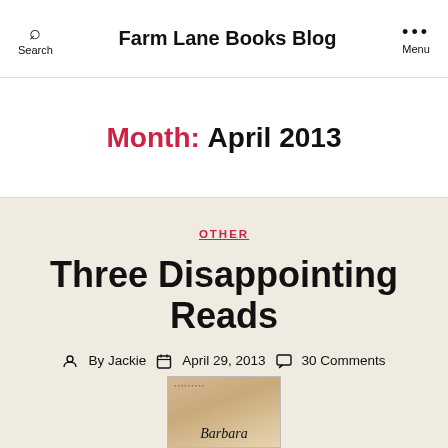Search | Farm Lane Books Blog | Menu
Month: April 2013
OTHER
Three Disappointing Reads
By Jackie  April 29, 2013  30 Comments
[Figure (photo): Book cover showing 'Barbara' text on a tan/beige background with decorative dots pattern]